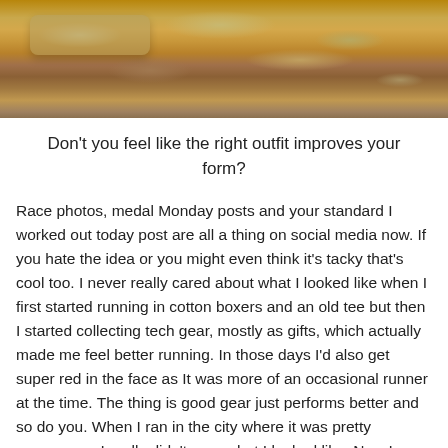[Figure (photo): Photo of rocky terrain with sandy-colored stones and boulders under sunlight]
Don't you feel like the right outfit improves your form?
Race photos, medal Monday posts and your standard I worked out today post are all a thing on social media now. If you hate the idea or you might even think it's tacky that's cool too. I never really cared about what I looked like when I first started running in cotton boxers and an old tee but then I started collecting tech gear, mostly as gifts, which actually made me feel better running. In those days I'd also get super red in the face as It was more of an occasional runner at the time. The thing is good gear just performs better and so do you. When I ran in the city where it was pretty anonymous I really didn't care what I looked like. Now I run in a small